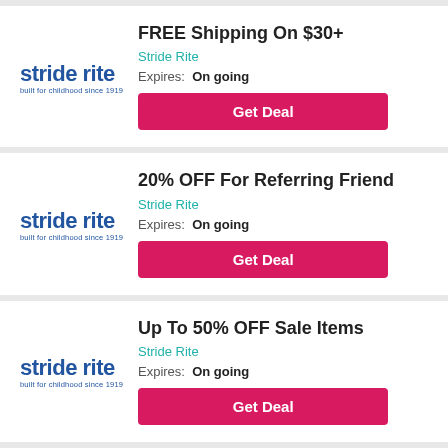[Figure (logo): Stride Rite logo - blue text 'stride rite' with tagline 'built for childhood since 1919']
FREE Shipping On $30+
Stride Rite
Expires: On going
Get Deal
[Figure (logo): Stride Rite logo - blue text 'stride rite' with tagline 'built for childhood since 1919']
20% OFF For Referring Friend
Stride Rite
Expires: On going
Get Deal
[Figure (logo): Stride Rite logo - blue text 'stride rite' with tagline 'built for childhood since 1919']
Up To 50% OFF Sale Items
Stride Rite
Expires: On going
Get Deal